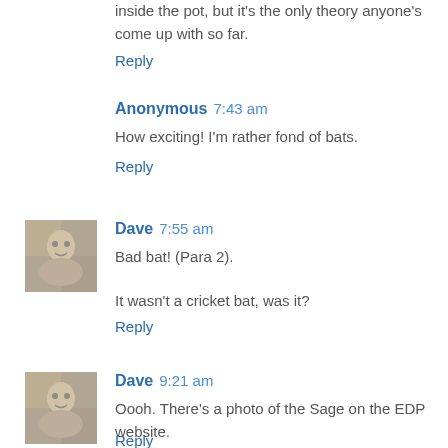inside the pot, but it's the only theory anyone's come up with so far.
Reply
Anonymous 7:43 am
How exciting! I'm rather fond of bats.
Reply
[Figure (photo): Avatar photo of Dave - grayscale portrait]
Dave 7:55 am
Bad bat! (Para 2).
It wasn't a cricket bat, was it?
Reply
[Figure (photo): Avatar photo of Dave - grayscale portrait]
Dave 9:21 am
Oooh. There's a photo of the Sage on the EDP website.
Reply